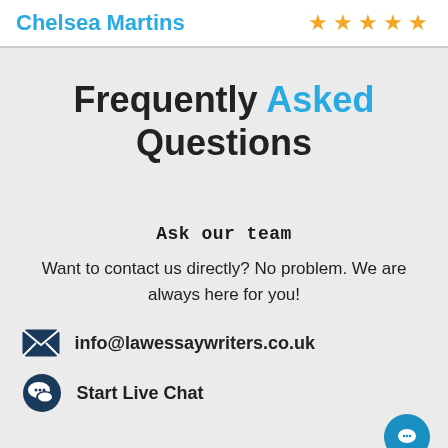Chelsea Martins ★★★★★
Frequently Asked Questions
Ask our team
Want to contact us directly? No problem. We are always here for you!
info@lawessaywriters.co.uk
Start Live Chat